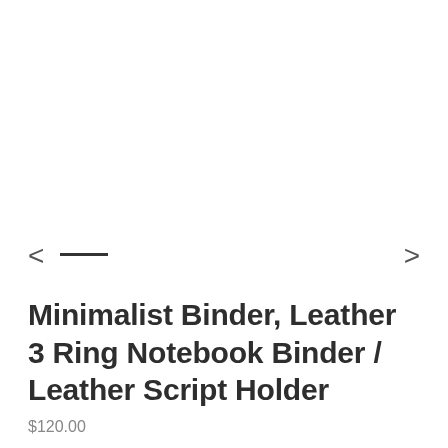[Figure (other): Navigation row with left arrow chevron, a short horizontal dash indicator, and right arrow chevron for image carousel]
Minimalist Binder, Leather 3 Ring Notebook Binder / Leather Script Holder
$120.00